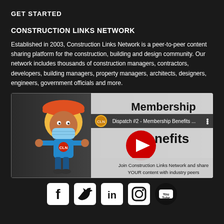GET STARTED
CONSTRUCTION LINKS NETWORK
Established in 2003, Construction Links Network is a peer-to-peer content sharing platform for the construction, building and design community. Our network includes thousands of construction managers, contractors, developers, building managers, property managers, architects, designers, engineers, government officials and more.
[Figure (screenshot): YouTube video thumbnail for 'Dispatch #2 - Membership Benefits...' showing a cartoon construction worker character wearing a mask on the left, with 'Membership Benefits' text on the right and a YouTube play button in the center. Below reads 'Join Construction Links Network and share YOUR content with industry peers'.]
[Figure (infographic): Row of five social media icons: Facebook, Twitter, LinkedIn, Instagram, YouTube]